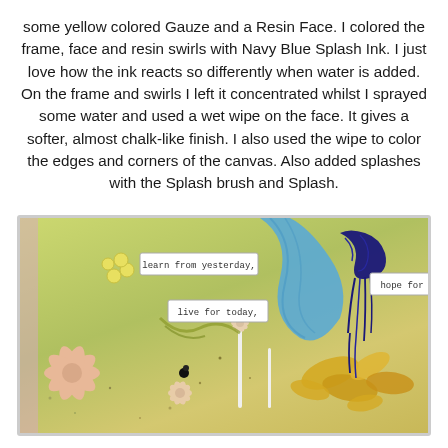some yellow colored Gauze and a Resin Face. I colored the frame, face and resin swirls with Navy Blue Splash Ink. I just love how the ink reacts so differently when water is added. On the frame and swirls I left it concentrated whilst I sprayed some water and used a wet wipe on the face. It gives a softer, almost chalk-like finish. I also used the wipe to color the edges and corners of the canvas. Also added splashes with the Splash brush and Splash.
[Figure (photo): A mixed media craft canvas featuring yellow gauze, blue fabric, navy blue resin swirls, star decorations, and small tags reading 'learn from yesterday', 'live for today', and 'hope for'. The background has a yellow-green chalky finish with decorative elements including yellow flowers, pearls, and starfish.]